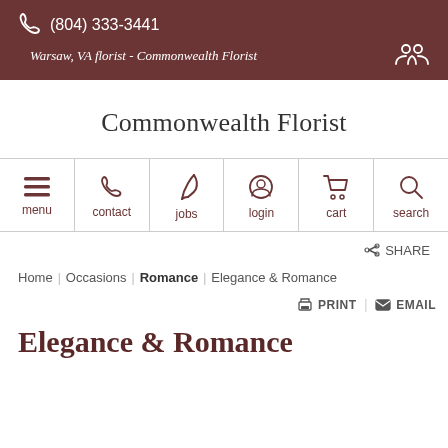(804) 333-3441
Warsaw, VA florist - Commonwealth Florist
Commonwealth Florist
[Figure (screenshot): Navigation bar with icons: menu, contact, jobs, login, cart, search]
SHARE
Home  Occasions  Romance  Elegance & Romance
PRINT  EMAIL
Elegance & Romance